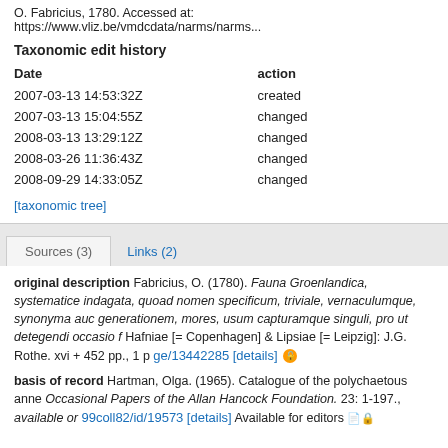O. Fabricius, 1780. Accessed at: https://www.vliz.be/vmdcdata/narms/narms...
Taxonomic edit history
| Date | action |
| --- | --- |
| 2007-03-13 14:53:32Z | created |
| 2007-03-13 15:04:55Z | changed |
| 2008-03-13 13:29:12Z | changed |
| 2008-03-26 11:36:43Z | changed |
| 2008-09-29 14:33:05Z | changed |
[taxonomic tree]
Sources (3)    Links (2)
original description Fabricius, O. (1780). Fauna Groenlandica, systematice indagata, quoad nomen specificum, triviale, vernaculumque, synonyma auc generationem, mores, usum capturamque singuli, pro ut detegendi occasio f Hafniae [= Copenhagen] & Lipsiae [= Leipzig]: J.G. Rothe. xvi + 452 pp., 1 p ge/13442285 [details]
basis of record Hartman, Olga. (1965). Catalogue of the polychaetous anne Occasional Papers of the Allan Hancock Foundation. 23: 1-197., available or 99coll82/id/19573 [details] Available for editors